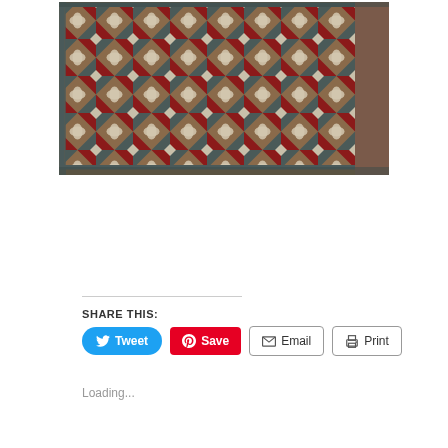[Figure (photo): A patchwork quilt with a geometric pinwheel/tumbling blocks pattern in red, dark gray/teal, brown, and white/cream colors, laid flat and photographed from above.]
SHARE THIS:
Tweet
Save
Email
Print
Loading...